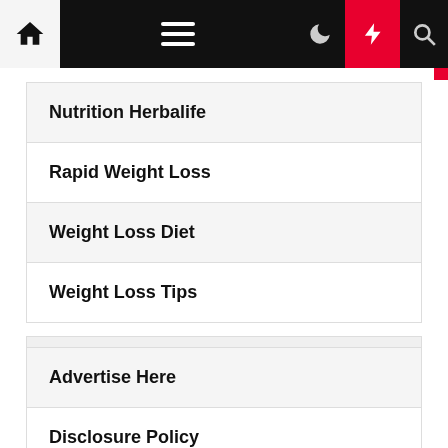Navigation bar with home, menu, dark mode, lightning, search icons
Nutrition Herbalife
Rapid Weight Loss
Weight Loss Diet
Weight Loss Tips
Advertise Here
Disclosure Policy
Contact Us
Sitemap